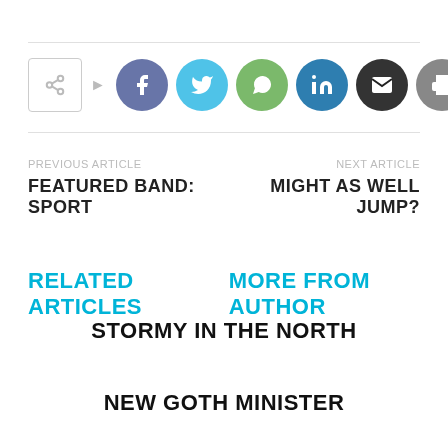[Figure (infographic): Social share bar with share icon box, arrow, and circular social media buttons: Facebook (purple-blue), Twitter (cyan), WhatsApp (green), LinkedIn (dark blue), Email (dark/black), Print (gray), Tumblr (dark teal)]
PREVIOUS ARTICLE
FEATURED BAND: SPORT
NEXT ARTICLE
MIGHT AS WELL JUMP?
RELATED ARTICLES   MORE FROM AUTHOR
STORMY IN THE NORTH
NEW GOTH MINISTER